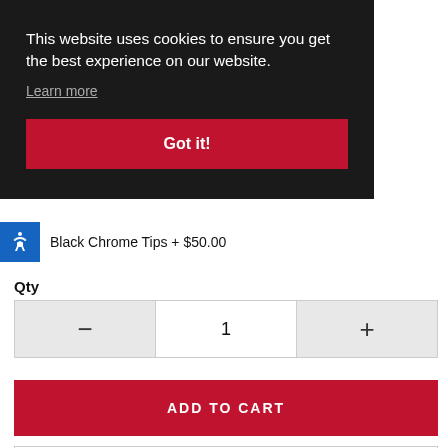(PSE)
This website uses cookies to ensure you get the best experience on our website.
Learn more
Got it!
Black Chrome Tips  + $50.00
Qty
1
ADD TO CART